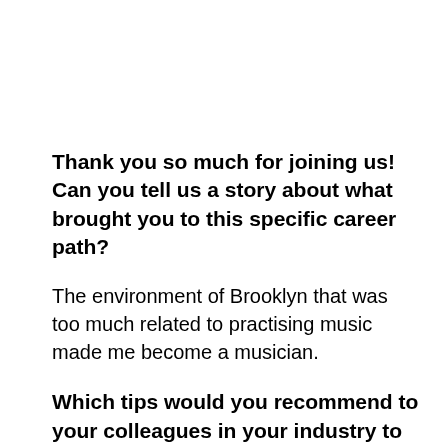Thank you so much for joining us! Can you tell us a story about what brought you to this specific career path?
The environment of Brooklyn that was too much related to practising music made me become a musician.
Which tips would you recommend to your colleagues in your industry to help them to thrive and not “burn out”?